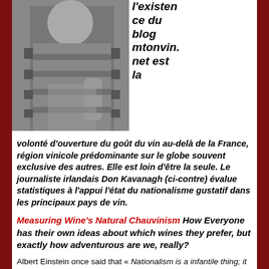[Figure (photo): Black and white photo of a man in a striped rugby/polo shirt holding what appears to be a wine bottle]
l'existence du blog mtonvin.net est la volonté d'ouverture du goût du vin au-delà de la France, région vinicole prédominante sur le globe souvent exclusive des autres. Elle est loin d'être la seule. Le journaliste irlandais Don Kavanagh (ci-contre) évalue statistiques à l'appui l'état du nationalisme gustatif dans les principaux pays de vin.
Measuring Wine's Natural Chauvinism How Everyone has their own ideas about which wines they prefer, but exactly how adventurous are we, really?
Albert Einstein once said that « Nationalism is an infantile thing; it is the measles of mankind » (which is a lot pithier than even the simplified version of his General Theory of Relativity) but,